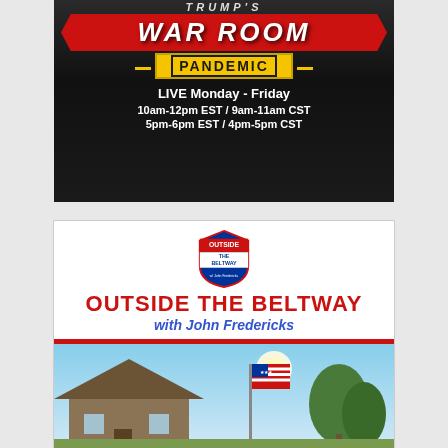[Figure (illustration): War Room Pandemic advertisement banner. Dark background with red arrow-shaped banner reading 'WAR ROOM' and yellow box reading 'PANDEMIC'. Text below: 'LIVE Monday - Friday / 10am-12pm EST / 9am-11am CST / 5pm-6pm EST / 4pm-5pm CST']
[Figure (illustration): Outside the Beltway with John Fredericks advertisement. White background with interstate highway shield logo, red bold text 'OUTSIDE THE BELTWAY', blue italic text 'with John Fredericks', red horizontal rule, and photo of house with American flag and trees.]